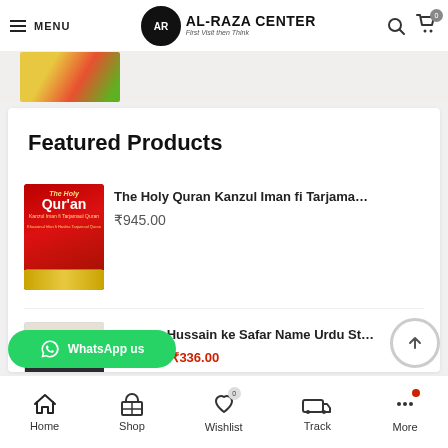MENU | AL-RAZA CENTER — First Visit then Think
[Figure (photo): Partial product image visible at top of scroll]
Featured Products
[Figure (photo): The Holy Quran Kanzul Iman fi Tarjama book cover - red with gold accent]
The Holy Quran Kanzul Iman fi Tarjama…
₹945.00
[Figure (photo): Mujtaba Hussain ke Safar Name Urdu book cover]
Mujtaba Hussain ke Safar Name Urdu St…
₹350.00  ₹336.00
Home | Shop | Wishlist 0 | Track | More